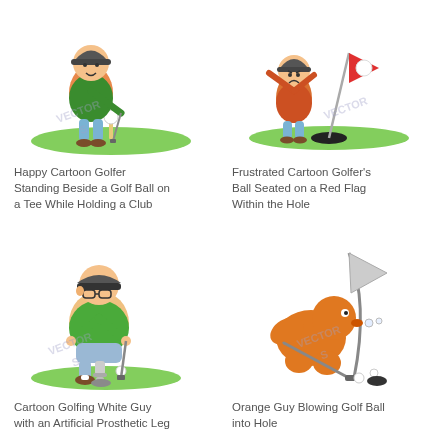[Figure (illustration): Happy cartoon golfer standing beside a golf ball on a tee while holding a club]
Happy Cartoon Golfer Standing Beside a Golf Ball on a Tee While Holding a Club
[Figure (illustration): Frustrated cartoon golfer's ball seated on a red flag within the hole]
Frustrated Cartoon Golfer's Ball Seated on a Red Flag Within the Hole
[Figure (illustration): Cartoon golfing white guy with an artificial prosthetic leg]
Cartoon Golfing White Guy with an Artificial Prosthetic Leg
[Figure (illustration): Orange guy blowing golf ball into hole]
Orange Guy Blowing Golf Ball into Hole